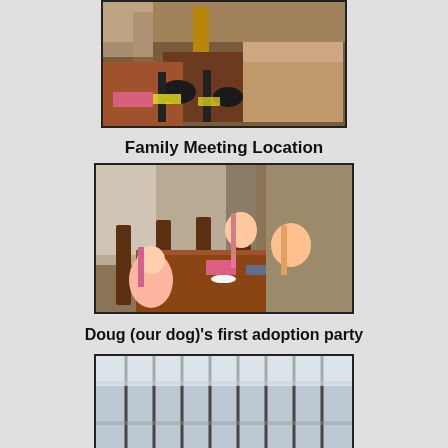[Figure (photo): Close-up photo of a dog's paws/legs on a wooden table surface, with pink and other items visible]
Family Meeting Location
[Figure (photo): Photo of three young girls sitting around a wooden dining table with arms raised, celebrating, in a dining room]
Doug (our dog)'s first adoption party
[Figure (photo): Partial photo showing what appears to be a crate or cage with vertical bars, light coming through blinds in the background]